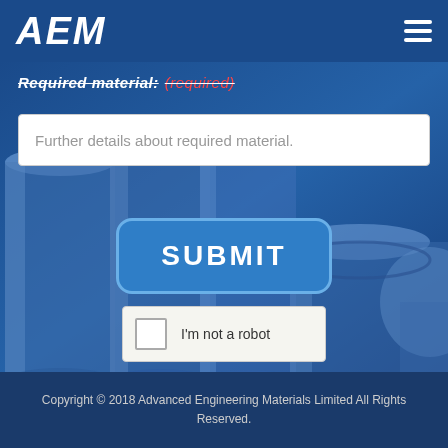[Figure (logo): AEM logo in white italic bold text on dark blue header bar]
Required material: (required)
[Figure (screenshot): Text input field with placeholder text 'Further details about required material.']
[Figure (screenshot): Blue SUBMIT button with rounded rectangle border]
[Figure (screenshot): reCAPTCHA widget with checkbox and text 'I'm not a robot']
Copyright © 2018 Advanced Engineering Materials Limited All Rights Reserved.